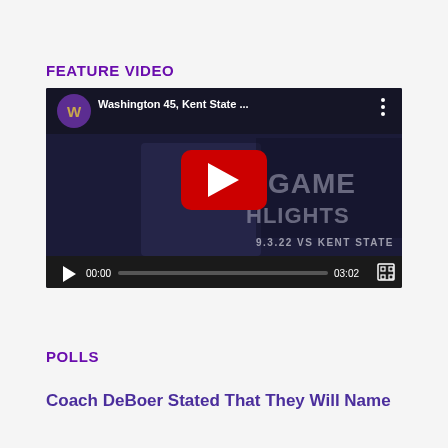FEATURE VIDEO
[Figure (screenshot): YouTube video thumbnail for 'Washington 45, Kent State ...' game highlights. Shows two football players in dark uniforms with text 'GAME HIGHLIGHTS' and '9.3.22 VS KENT STATE'. Has a University of Washington 'W' logo in a purple circle top-left, video title, overflow menu dots, red YouTube play button overlay, and video controls bar showing 00:00 / 03:02 timestamps.]
POLLS
Coach DeBoer Stated That They Will Name